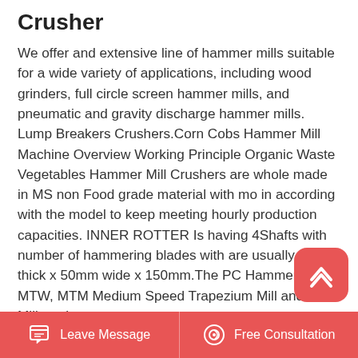Crusher
We offer and extensive line of hammer mills suitable for a wide variety of applications, including wood grinders, full circle screen hammer mills, and pneumatic and gravity discharge hammer mills. Lump Breakers Crushers.Corn Cobs Hammer Mill Machine Overview Working Principle Organic Waste Vegetables Hammer Mill Crushers are whole made in MS non Food grade material with mo in according with the model to keep meeting hourly production capacities. INNER ROTTER Is having 4Shafts with number of hammering blades with are usually 6mm thick x 50mm wide x 150mm.The PC Hammer Mill, MTW, MTM Medium Speed Trapezium Mill and Ball Mill, and
Leave Message   Free Consultation